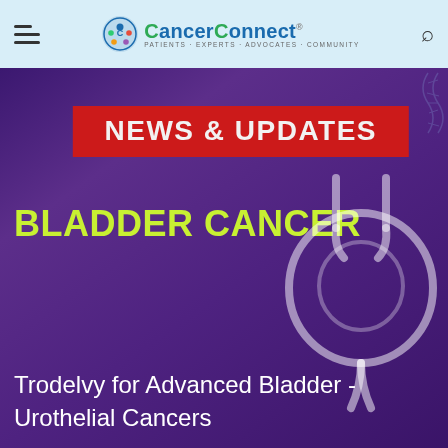CancerConnect — Patients · Experts · Advocates · Community
[Figure (illustration): CancerConnect website screenshot showing a News & Updates banner for Bladder Cancer with a white line-art bladder diagram on a purple gradient background. Below is article title 'Trodelvy for Advanced Bladder - Urothelial Cancers'.]
NEWS & UPDATES
BLADDER CANCER
Trodelvy for Advanced Bladder - Urothelial Cancers